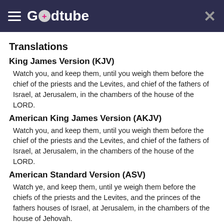Godtube
Translations
King James Version (KJV)
Watch you, and keep them, until you weigh them before the chief of the priests and the Levites, and chief of the fathers of Israel, at Jerusalem, in the chambers of the house of the LORD.
American King James Version (AKJV)
Watch you, and keep them, until you weigh them before the chief of the priests and the Levites, and chief of the fathers of Israel, at Jerusalem, in the chambers of the house of the LORD.
American Standard Version (ASV)
Watch ye, and keep them, until ye weigh them before the chiefs of the priests and the Levites, and the princes of the fathers houses of Israel, at Jerusalem, in the chambers of the house of Jehovah.
Basic English Translation (BBE)